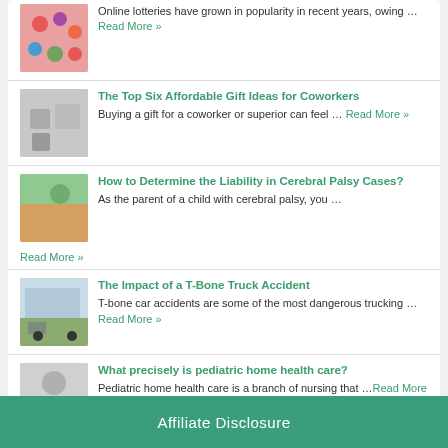Online lotteries have grown in popularity in recent years, owing … Read More »
The Top Six Affordable Gift Ideas for Coworkers
Buying a gift for a coworker or superior can feel … Read More »
How to Determine the Liability in Cerebral Palsy Cases?
As the parent of a child with cerebral palsy, you … Read More »
The Impact of a T-Bone Truck Accident
T-bone car accidents are some of the most dangerous trucking … Read More »
What precisely is pediatric home health care?
Pediatric home health care is a branch of nursing that … Read More »
Affiliate Disclosure